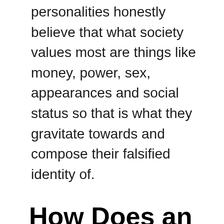personalities honestly believe that what society values most are things like money, power, sex, appearances and social status so that is what they gravitate towards and compose their falsified identity of.
How Does an Unhealthy/Abusive Upbringing Correlate